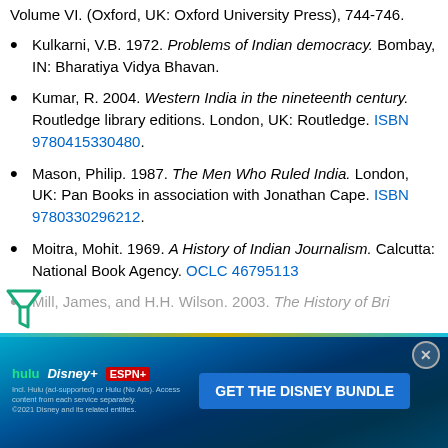Volume VI. (Oxford, UK: Oxford University Press), 744-746.
Kulkarni, V.B. 1972. Problems of Indian democracy. Bombay, IN: Bharatiya Vidya Bhavan.
Kumar, R. 2004. Western India in the nineteenth century. Routledge library editions. London, UK: Routledge. ISBN 9780415330480.
Mason, Philip. 1987. The Men Who Ruled India. London, UK: Pan Books in association with Jonathan Cape. ISBN 9780330296212.
Moitra, Mohit. 1969. A History of Indian Journalism. Calcutta: National Book Agency. OCLC 46795113
Mill, James, and H.H. Wilson. 2003. The History of British India... (faded/obscured by ad)
Scholberg, Henry. 1998. The Biographical... (faded/obscured by ad)
[Figure (screenshot): Advertisement banner for Disney Bundle (Hulu, Disney+, ESPN+) with GET THE DISNEY BUNDLE button]